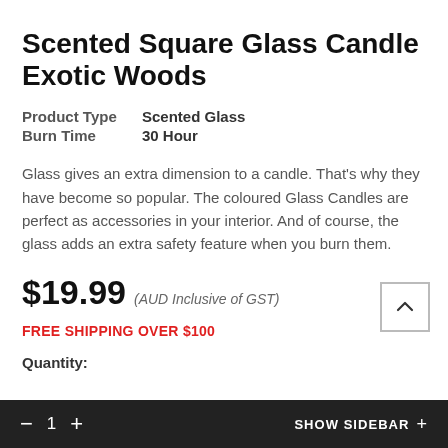Scented Square Glass Candle Exotic Woods
| Product Type | Scented Glass |
| Burn Time | 30 Hour |
Glass gives an extra dimension to a candle. That's why they have become so popular. The coloured Glass Candles are perfect as accessories in your interior. And of course, the glass adds an extra safety feature when you burn them.
$19.99 (AUD Inclusive of GST)
FREE SHIPPING OVER $100
Quantity:
SHOW SIDEBAR +